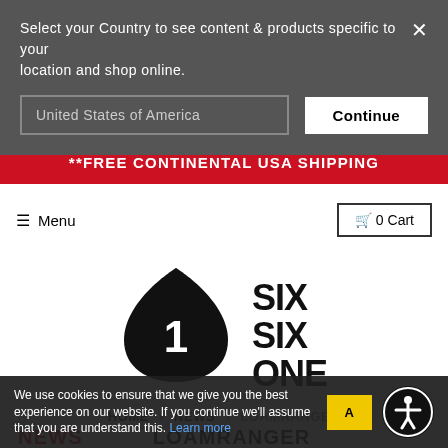Select your Country to see content & products specific to your location and shop online.
United States of America
Continue
**FREE CONTINENTAL USA SHIPPING
☰ Menu
🛒 0 Cart
[Figure (logo): Six Six One (661) brand logo — a black teardrop/shield shape with the number 1 inside, next to bold black stacked text reading SIX SIX ONE]
HOME › NEWS › LOAMRANGER
NEWS    LOAMRANGER
We use cookies to ensure that we give you the best experience on our website. If you continue we'll assume that you are understand this. Learn more